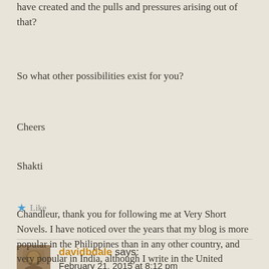have created and the pulls and pressures arising out of that?
So what other possibilities exist for you?
Cheers
Shakti
Like
davidbdale says: February 21, 2015 at 8:12 pm
Chandleur, thank you for following me at Very Short Novels. I have noticed over the years that my blog is more popular in the Philippines than in any other country, and very popular in India, although I write in the United